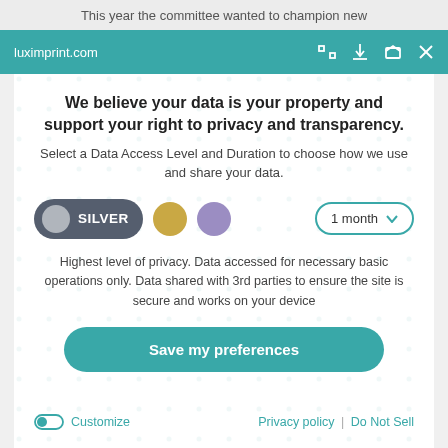This year the committee wanted to champion new
luximprint.com
We believe your data is your property and support your right to privacy and transparency.
Select a Data Access Level and Duration to choose how we use and share your data.
[Figure (infographic): Privacy level selector showing SILVER toggle button (active, dark grey with light grey circle), gold circle button, purple circle button, and a '1 month' dropdown selector with teal border]
Highest level of privacy. Data accessed for necessary basic operations only. Data shared with 3rd parties to ensure the site is secure and works on your device
Save my preferences
Customize
Privacy policy | Do Not Sell